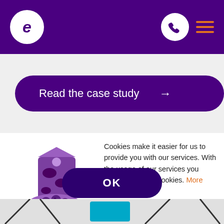[Figure (logo): Purple header navigation bar with white 'e' logo circle on left, white phone icon circle and orange hamburger menu on right]
[Figure (other): Dark purple rounded pill button reading 'Read the case study' with right arrow, on light grey background]
[Figure (illustration): Purple illustrated cartoon of a milk/cookie carton and bowl of cookies with cookie pieces scattered around, in purple tones]
Cookies make it easier for us to provide you with our services. With the usage of our services you permit us to use cookies. More information..
[Figure (other): Dark purple rounded pill OK button]
[Figure (other): Bottom strip with partial decorative elements visible]